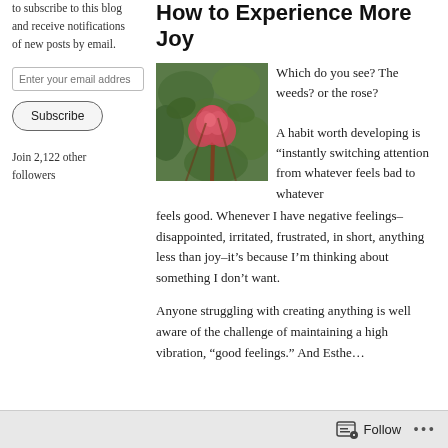to subscribe to this blog and receive notifications of new posts by email.
Enter your email address
Subscribe
Join 2,122 other followers
How to Experience More Joy
[Figure (photo): Close-up photo of a pink rose bud among green leaves and weeds]
Which do you see? The weeds? or the rose?

A habit worth developing is “instantly switching attention from whatever feels bad to whatever feels good. Whenever I have negative feelings–disappointed, irritated, frustrated, in short, anything less than joy–it’s because I’m thinking about something I don’t want.
Anyone struggling with creating anything is well aware of the challenge of maintaining a high vibration, “good feelings.” And Esthe…
Follow •••